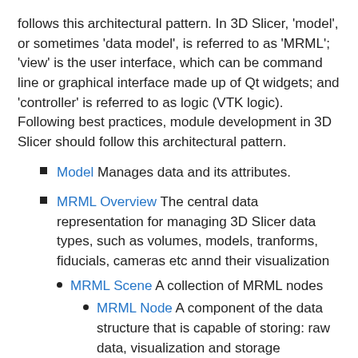follows this architectural pattern. In 3D Slicer, 'model', or sometimes 'data model', is referred to as 'MRML'; 'view' is the user interface, which can be command line or graphical interface made up of Qt widgets; and 'controller' is referred to as logic (VTK logic). Following best practices, module development in 3D Slicer should follow this architectural pattern.
Model Manages data and its attributes.
MRML Overview The central data representation for managing 3D Slicer data types, such as volumes, models, tranforms, fiducials, cameras etc annd their visualization
MRML Scene A collection of MRML nodes
MRML Node A component of the data structure that is capable of storing: raw data, visualization and storage parameters.
Attributes Analogous to variables associated with a MRML node.